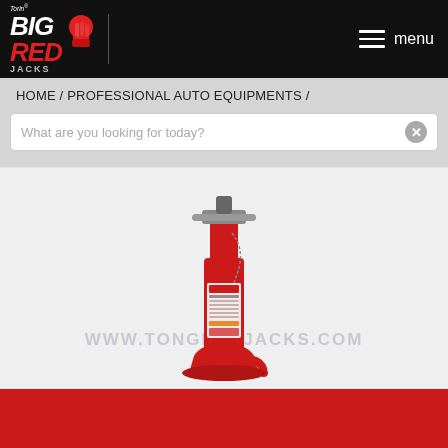[Figure (logo): Torin Big Red Jacks logo with stylized fist icon on black header background]
menu
HOME / PROFESSIONAL AUTO EQUIPMENTS /
What are you looking for today?
[Figure (photo): Red hydraulic bottle jack (Torin Big Red) on light gray background with watermark WWW.TONGRENJACKS.COM]
WWW.TONGRENJACKS.COM